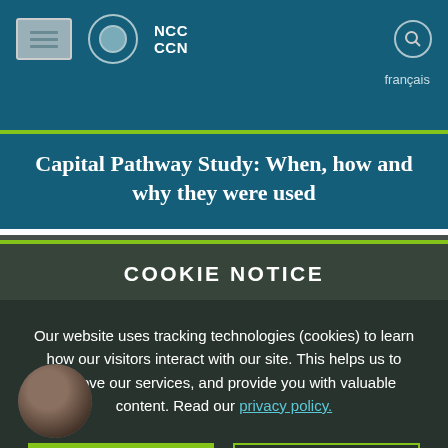[Figure (screenshot): NCC CCN website navigation bar with logo icons, NCC CCN text, search icon, and francais language link on teal/dark blue background]
Capital Pathway Study: When, how and why they were used
COOKIE NOTICE
Our website uses tracking technologies (cookies) to learn how our visitors interact with our site. This helps us to improve our services, and provide you with valuable content. Read our privacy policy.
ACCEPT COOKIES
DECLINE COOKIES